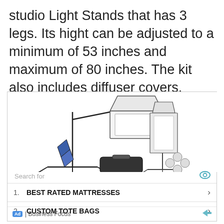studio Light Stands that has 3 legs. Its hight can be adjusted to a minimum of 53 inches and maximum of 80 inches. The kit also includes diffuser covers.
[Figure (photo): Photo of a photography studio lighting kit including softboxes, light stands, a boom arm with reflector, and a carrying bag.]
Search for
1. BEST RATED MATTRESSES
2. CUSTOM TOTE BAGS
Ad | Business Focus